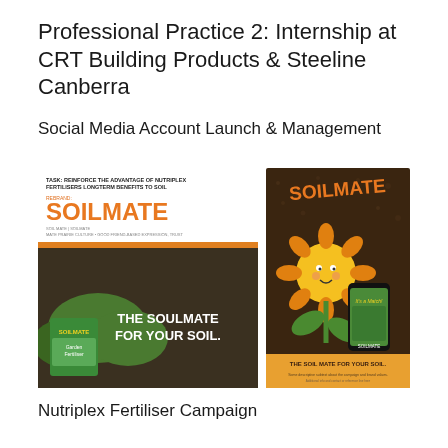Professional Practice 2: Internship at CRT Building Products & Steeline Canberra
Social Media Account Launch & Management
[Figure (illustration): Two marketing campaign images for 'Soilmate' brand. Left image shows a presentation slide with text 'TASK: REINFORCE THE ADVANTAGE OF NUTRIPLEX FERTILISERS LONGTERM BENEFITS TO SOIL', 'REBRAND: SOILMATE', and a banner image of garden beds with 'THE SOULMATE FOR YOUR SOIL.' Right image shows a dark soil-textured poster with a cartoon sunflower character holding a phone, 'SOILMATE' text in orange at top, and 'THE SOIL MATE FOR YOUR SOIL.' text at the bottom.]
Nutriplex Fertiliser Campaign